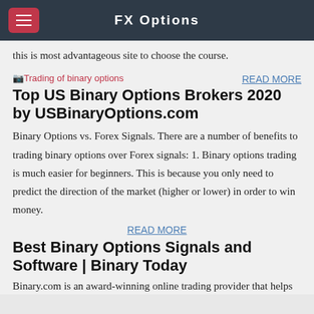FX Options
this is most advantageous site to choose the course.
[Figure (illustration): Broken image placeholder labeled 'Trading of binary options']
READ MORE
Top US Binary Options Brokers 2020 by USBinaryOptions.com
Binary Options vs. Forex Signals. There are a number of benefits to trading binary options over Forex signals: 1. Binary options trading is much easier for beginners. This is because you only need to predict the direction of the market (higher or lower) in order to win money.
READ MORE
Best Binary Options Signals and Software | Binary Today
Binary.com is an award-winning online trading provider that helps